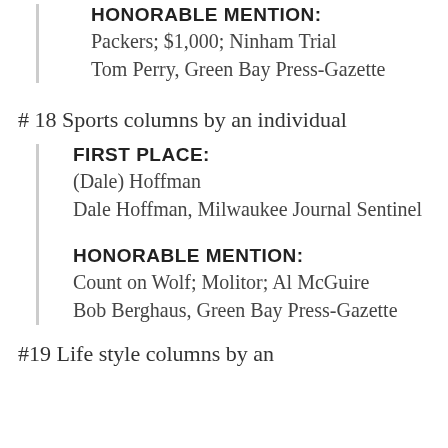HONORABLE MENTION: Packers; $1,000; Ninham Trial Tom Perry, Green Bay Press-Gazette
# 18 Sports columns by an individual
FIRST PLACE: (Dale) Hoffman Dale Hoffman, Milwaukee Journal Sentinel
HONORABLE MENTION: Count on Wolf; Molitor; Al McGuire Bob Berghaus, Green Bay Press-Gazette
#19 Life style columns by an